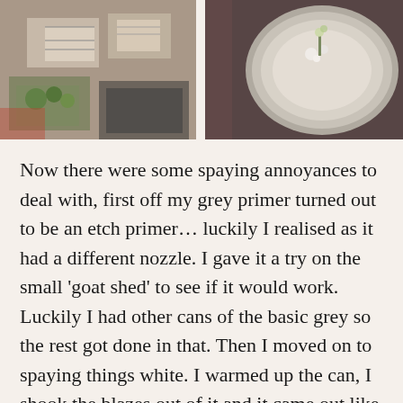[Figure (photo): Left photo: overhead view of miniature building models/blueprints on a table with a small plant/succulent in a box]
[Figure (photo): Right photo: overhead view of a round stone or concrete dish/plate with small white stones and a tiny plant/flowers on a dark surface]
Now there were some spaying annoyances to deal with, first off my grey primer turned out to be an etch primer… luckily I realised as it had a different nozzle. I gave it a try on the small 'goat shed' to see if it would work. Luckily I had other cans of the basic grey so the rest got done in that. Then I moved on to spaying things white. I warmed up the can, I shook the blazes out of it and it came out like a watered down version. If you look at the right hand photo above you can see what I mean on the green and orange miniatures. It eventually came